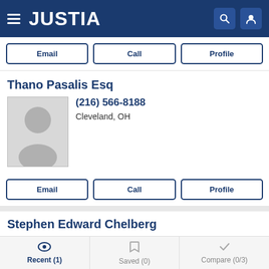[Figure (screenshot): Justia website header with hamburger menu, JUSTIA logo in white on dark blue background, search and user icons]
Email | Call | Profile (action buttons)
Thano Pasalis Esq
[Figure (photo): Generic placeholder silhouette photo for Thano Pasalis Esq]
(216) 566-8188
Cleveland, OH
Email | Call | Profile (action buttons)
Stephen Edward Chelberg
[Figure (photo): Generic placeholder silhouette photo for Stephen Edward Chelberg]
(216) 479-8500
Cleveland, OH
Recent (1) | Saved (0) | Compare (0/3)